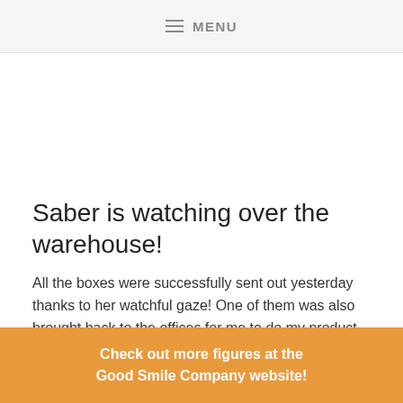MENU
Saber is watching over the warehouse!
All the boxes were successfully sent out yesterday thanks to her watchful gaze! One of them was also brought back to the offices for me to do my product review!!
Check out more figures at the Good Smile Company website!